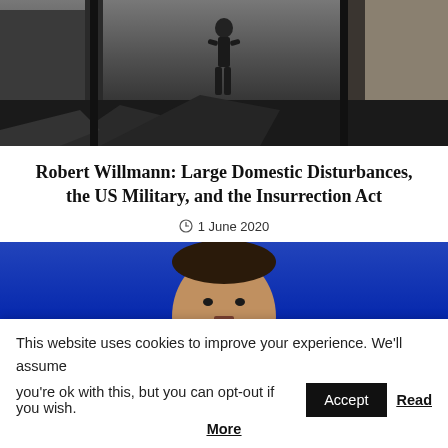[Figure (photo): Dark photo of a person walking through rubble or debris, dark industrial scene with destroyed/damaged structures]
Robert Willmann: Large Domestic Disturbances, the US Military, and the Insurrection Act
1 June 2020
[Figure (photo): Photo of Mark Zuckerberg against a blue background, appears to be speaking at an event]
This website uses cookies to improve your experience. We'll assume you're ok with this, but you can opt-out if you wish. Accept Read More